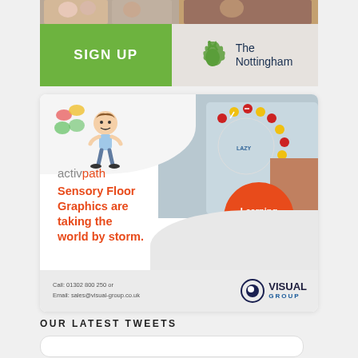[Figure (photo): Photos strip at top showing people]
[Figure (infographic): SIGN UP button in green and The Nottingham building society logo on grey background]
[Figure (infographic): activpath advertisement: Sensory Floor Graphics are taking the world by storm. Learning made fun! Call: 01302 800 250 or Email: sales@visual-group.co.uk. Visual Group logo.]
OUR LATEST TWEETS
[Figure (screenshot): Partial tweet card at bottom]